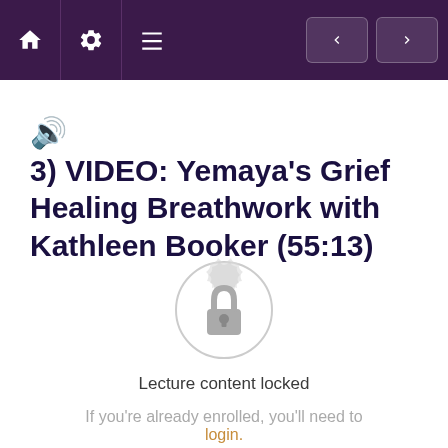[Figure (screenshot): Navigation bar with home, settings, and menu icons on the left; back and forward navigation buttons on the right, on a dark purple background]
3) VIDEO: Yemaya's Grief Healing Breathwork with Kathleen Booker (55:13)
[Figure (illustration): A circular ornate badge/seal with a padlock icon in the center, rendered in light gray, indicating locked content]
Lecture content locked
If you're already enrolled, you'll need to login.